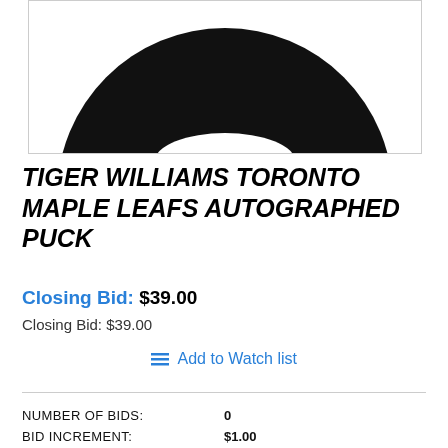[Figure (photo): Close-up photo of a black hockey puck on white background, viewed from above, showing the curved top edge against white.]
TIGER WILLIAMS TORONTO MAPLE LEAFS AUTOGRAPHED PUCK
Closing Bid: $39.00
Closing Bid: $39.00
≡ Add to Watch list
| NUMBER OF BIDS: | 0 |
| BID INCREMENT: | $1.00 |